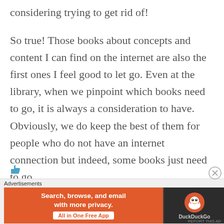considering trying to get rid of!
So true! Those books about concepts and content I can find on the internet are also the first ones I feel good to let go. Even at the library, when we pinpoint which books need to go, it is always a consideration to have. Obviously, we do keep the best of them for people who do not have an internet connection but indeed, some books just need to go.
[Figure (other): Thumbs up icon partially visible at bottom of content area]
[Figure (other): DuckDuckGo advertisement banner: orange section with text 'Search, browse, and email with more privacy. All in One Free App' and dark section with DuckDuckGo duck logo]
REPORT THIS AD